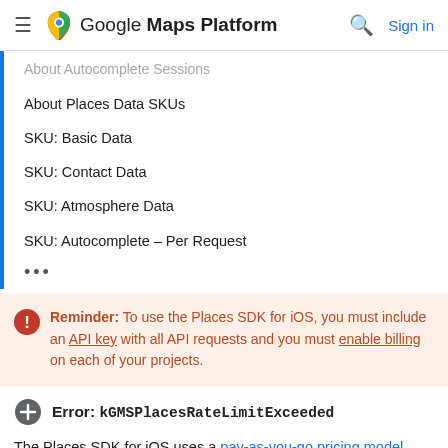Google Maps Platform Sign in
About Autocomplete Sessions
About Places Data SKUs
SKU: Basic Data
SKU: Contact Data
SKU: Atmosphere Data
SKU: Autocomplete – Per Request
•••
Reminder: To use the Places SDK for iOS, you must include an API key with all API requests and you must enable billing on each of your projects.
Error: kGMSPlacesRateLimitExceeded
The Places SDK for iOS uses a pay-as-you-go pricing model. Places SDK for iOS requests for the Places API are